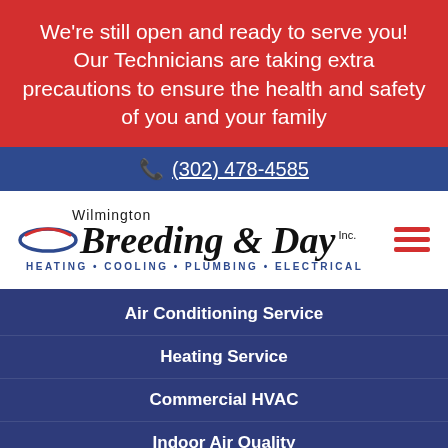We're still open and ready to serve you! Our Technicians are taking extra precautions to ensure the health and safety of you and your family
(302) 478-4585
[Figure (logo): Wilmington Breeding & Day Inc. logo with HEATING • COOLING • PLUMBING • ELECTRICAL tagline]
Air Conditioning Service
Heating Service
Commercial HVAC
Indoor Air Quality
Ductless HVAC
Back Up Generators